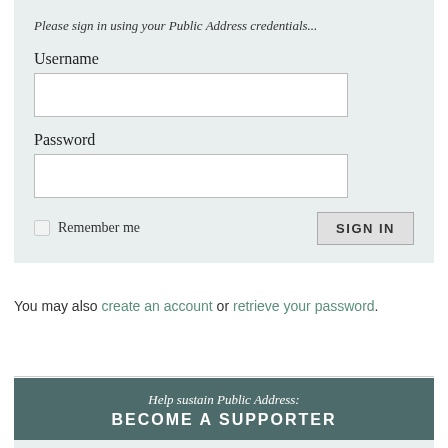Please sign in using your Public Address credentials...
Username
Password
Remember me
SIGN IN
You may also create an account or retrieve your password.
[Figure (other): Horizontal divider line]
Help sustain Public Address: BECOME A SUPPORTER
USERNAME
PASSWORD